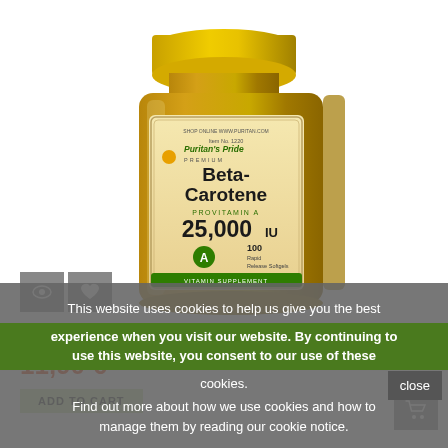[Figure (photo): Puritan's Pride Beta-Carotene 25,000 IU vitamin supplement bottle with yellow cap, 100 Rapid Release Softgels, Provitamin A]
Beta Carotene 25,000...
11,90 €
ADD TO CART
This website uses cookies to help us give you the best experience when you visit our website. By continuing to use this website, you consent to our use of these cookies.
Find out more about how we use cookies and how to manage them by reading our cookie notice.